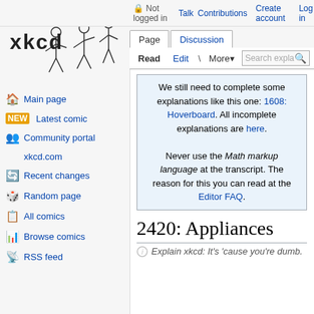Not logged in  Talk  Contributions  Create account  Log in
[Figure (logo): Explain xkcd logo with stick figures and text saying EXPLAIN xkcd]
Main page
Latest comic
Community portal
xkcd.com
Recent changes
Random page
All comics
Browse comics
RSS feed
We still need to complete some explanations like this one: 1608: Hoverboard. All incomplete explanations are here.

Never use the Math markup language at the transcript. The reason for this you can read at the Editor FAQ.
2420: Appliances
Explain xkcd: It's 'cause you're dumb.